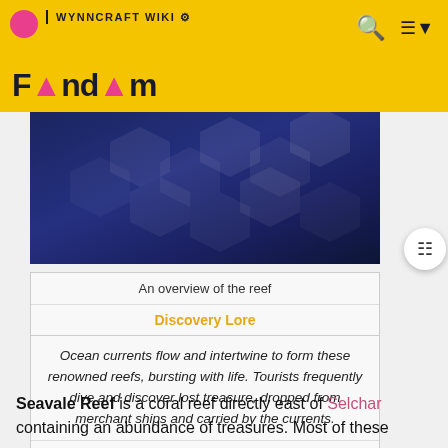WYNNCRAFT WIKI | Fandom
[Figure (photo): Blue hexagonal/geometric dark navy background image representing Seavale Reef overview]
An overview of the reef
Discovery Lore
Ocean currents flow and intertwine to form these renowned reefs, bursting with life. Tourists frequently dive and discover lost treasure, dropped from merchant ships and carried by the currents.
Access
Seavale Reef is a coral reef directly east of Selchar containing an abundance of treasures. Most of these